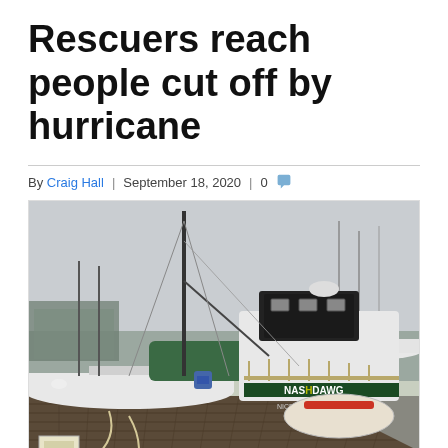Rescuers reach people cut off by hurricane
By Craig Hall | September 18, 2020 | 0
[Figure (photo): Sailboats and motor vessels moored at a marina dock, showing weather damage. A boat named 'NASHVILLE' (partially visible as 'NASHVILLE') is prominent in the foreground, with ropes and equipment on the wooden dock.]